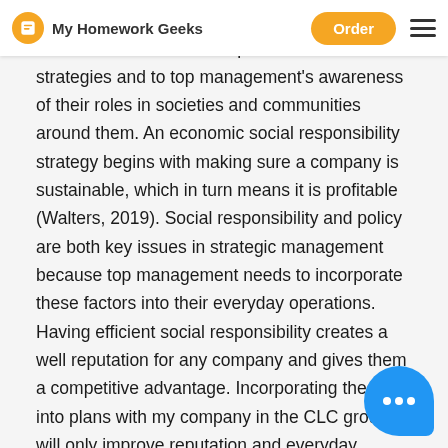My Homework Geeks | Order
consideration. Incorporating these ethical and social concerns into into operations and strategies and top management's awareness of their roles in societies and communities around them. An economic social responsibility strategy begins with making sure a company is sustainable, which in turn means it is profitable (Walters, 2019). Social responsibility and policy are both key issues in strategic management because top management needs to incorporate these factors into their everyday operations. Having efficient social responsibility creates a well reputation for any company and gives them a competitive advantage. Incorporating these into plans with my company in the CLC group will only improve reputation and everyday operations. I think effective social responsibility encourages employees to cooperate with one another which creates a better work environment for everyone